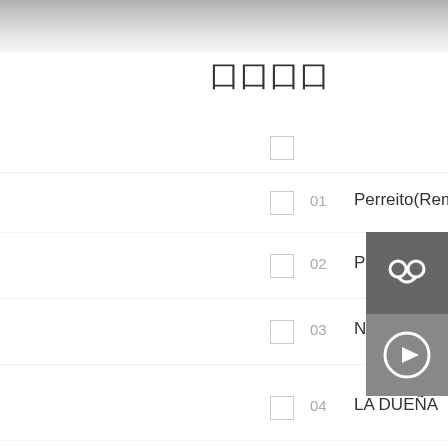囗囗囗囗
01  Perreito(Remix)  VIP  HQ
02  Pronto Llegará  VIP  HQ
03  No Soy Yo  VIP  HQ
04  LA DUEÑA  VIP  HQ